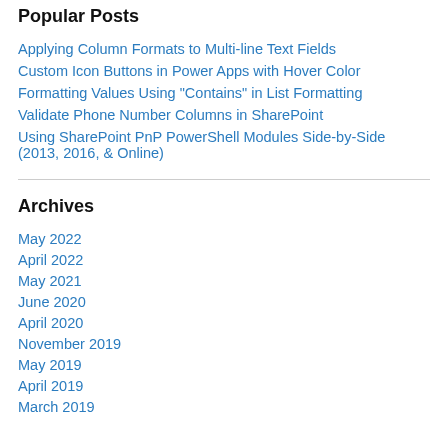Popular Posts
Applying Column Formats to Multi-line Text Fields
Custom Icon Buttons in Power Apps with Hover Color
Formatting Values Using "Contains" in List Formatting
Validate Phone Number Columns in SharePoint
Using SharePoint PnP PowerShell Modules Side-by-Side (2013, 2016, & Online)
Archives
May 2022
April 2022
May 2021
June 2020
April 2020
November 2019
May 2019
April 2019
March 2019